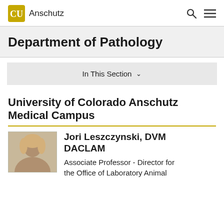CU Anschutz
Department of Pathology
In This Section
University of Colorado Anschutz Medical Campus
Jori Leszczynski, DVM DACLAM
Associate Professor - Director for the Office of Laboratory Animal